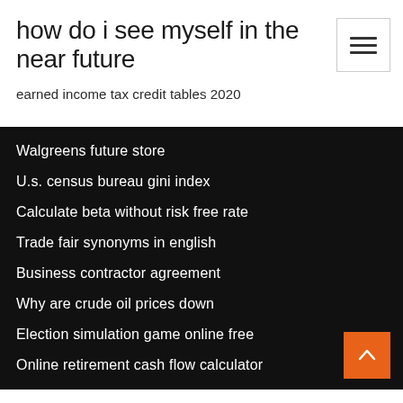how do i see myself in the near future
earned income tax credit tables 2020
Walgreens future store
U.s. census bureau gini index
Calculate beta without risk free rate
Trade fair synonyms in english
Business contractor agreement
Why are crude oil prices down
Election simulation game online free
Online retirement cash flow calculator